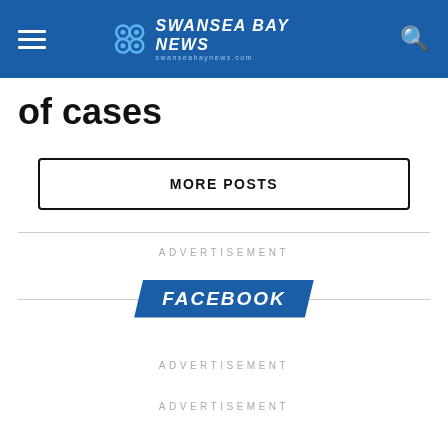Swansea Bay News — swanseabaynews.com
of cases
MORE POSTS
ADVERTISEMENT
FACEBOOK
ADVERTISEMENT
ADVERTISEMENT